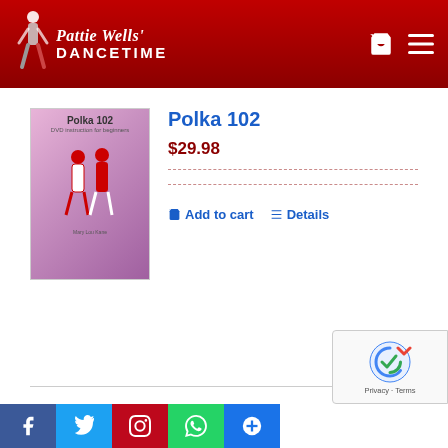Pattie Wells' DANCETIME
[Figure (screenshot): Polka 102 DVD cover with two dancers in red and white costumes on a purple/pink background]
Polka 102
$29.98
Add to cart   Details
[Figure (screenshot): Polka 101 DVD cover with two dancers on an orange background]
Polka 101
$29.98